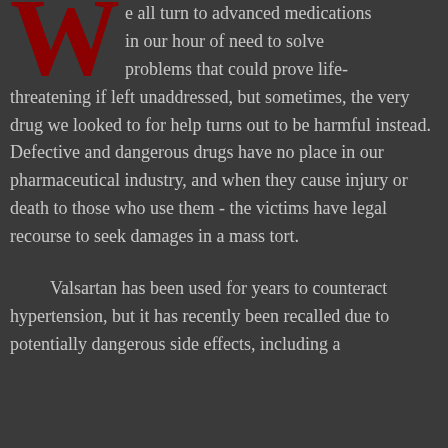e all turn to advanced medications in our hour of need to solve problems that could prove life-threatening if left unaddressed, but sometimes, the very drug we looked to for help turns out to be harmful instead. Defective and dangerous drugs have no place in our pharmaceutical industry, and when they cause injury or death to those who use them - the victims have legal recourse to seek damages in a mass tort.
Valsartan has been used for years to counteract hypertension, but it has recently been recalled due to potentially dangerous side effects, including a